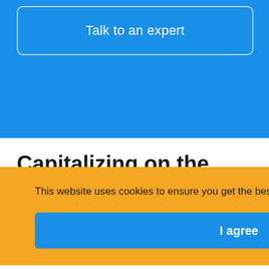Talk to an expert
Capitalizing on the fast-growing metro ethernet
This website uses cookies to ensure you get the best experience on our website. Learn More
I agree
Ethernet standards have continued to evolve it has